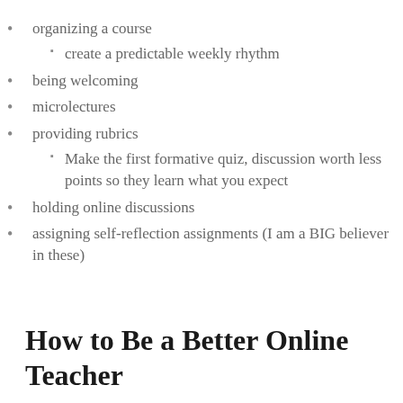organizing a course
create a predictable weekly rhythm
being welcoming
microlectures
providing rubrics
Make the first formative quiz, discussion worth less points so they learn what you expect
holding online discussions
assigning self-reflection assignments (I am a BIG believer in these)
How to Be a Better Online Teacher